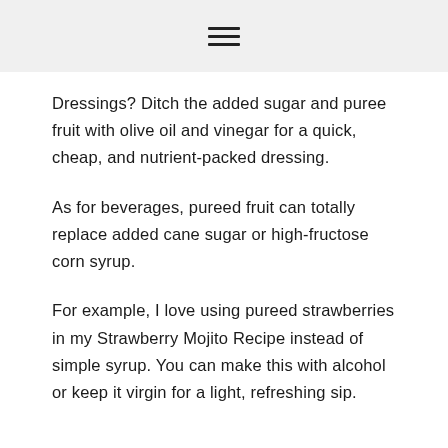☰
Dressings? Ditch the added sugar and puree fruit with olive oil and vinegar for a quick, cheap, and nutrient-packed dressing.
As for beverages, pureed fruit can totally replace added cane sugar or high-fructose corn syrup.
For example, I love using pureed strawberries in my Strawberry Mojito Recipe instead of simple syrup. You can make this with alcohol or keep it virgin for a light, refreshing sip.